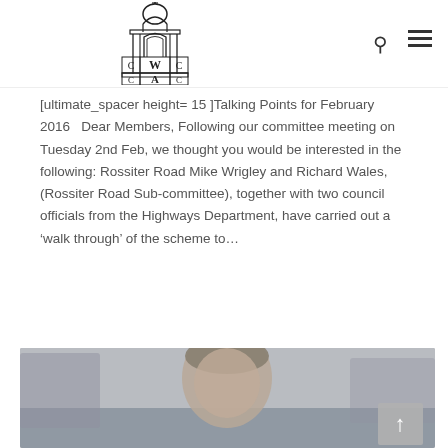WAC logo header with search and menu icons
[ultimate_spacer height= 15 ]Talking Points for February 2016   Dear Members, Following our committee meeting on Tuesday 2nd Feb, we thought you would be interested in the following: Rossiter Road Mike Wrigley and Richard Wales, (Rossiter Road Sub-committee), together with two council officials from the Highways Department, have carried out a ‘walk through’ of the scheme to…
[Figure (photo): Photograph of a man with grey-brown hair, outdoors, blurred street background]